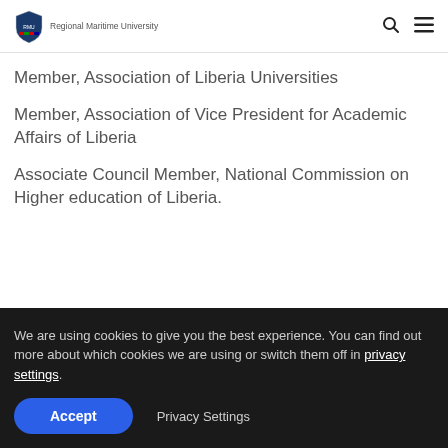Regional Maritime University
Member, Association of Liberia Universities
Member, Association of Vice President for Academic Affairs of Liberia
Associate Council Member, National Commission on Higher education of Liberia.
We are using cookies to give you the best experience. You can find out more about which cookies we are using or switch them off in privacy settings.
Accept | Privacy Settings